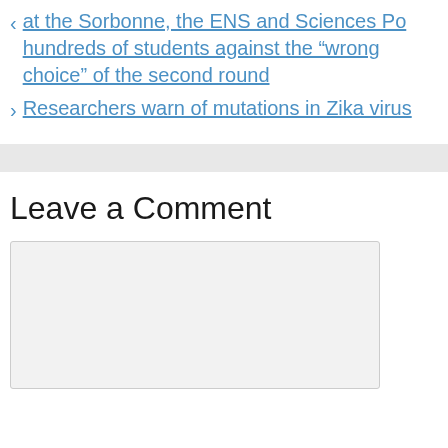< at the Sorbonne, the ENS and Sciences Po hundreds of students against the “wrong choice” of the second round
> Researchers warn of mutations in Zika virus
Leave a Comment